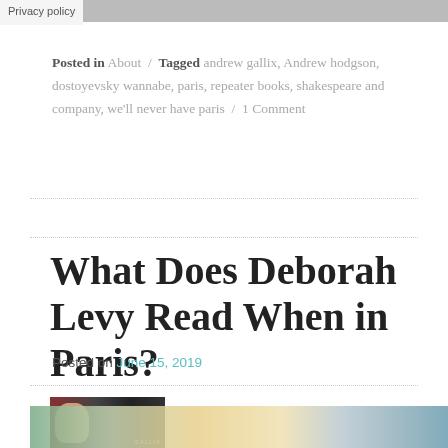Privacy policy
Posted in About / Tagged andrew gallix, Andrew hodgson, dostoyevsky wannabe, paris, repeater books, shakespeare and company, we'll never have paris / 1 Comment
What Does Deborah Levy Read When in Paris?
Posted on June 15, 2019
[Figure (photo): Small rectangular avatar/banner image with a person's face on the left and dark gradient background with text overlay on the right]
[Figure (photo): Wide horizontal photo at the bottom showing what appears to be a library or bookshop interior with teal/green tones]